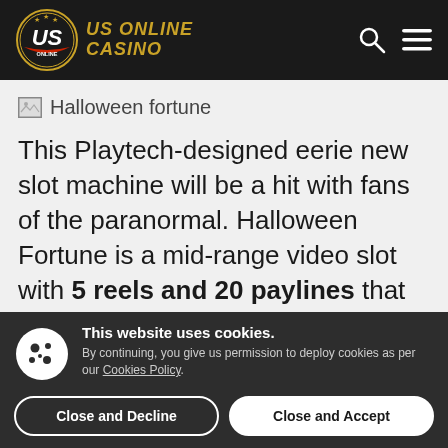US ONLINE CASINO
[Figure (illustration): Broken image placeholder labeled 'Halloween fortune']
This Playtech-designed eerie new slot machine will be a hit with fans of the paranormal. Halloween Fortune is a mid-range video slot with 5 reels and 20 paylines that rewards players with a nice [partially visible text continues]
This website uses cookies. By continuing, you give us permission to deploy cookies as per our Cookies Policy.
Close and Decline | Close and Accept